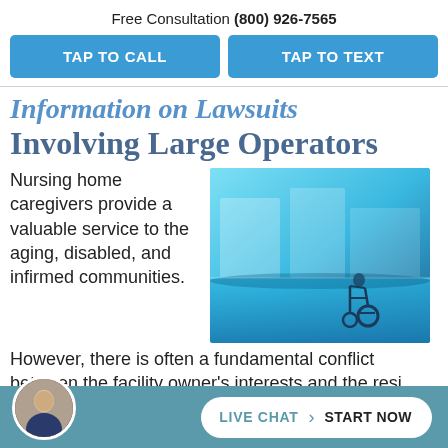Free Consultation (800) 926-7565
TAP TO CALL
TAP TO TEXT
Information on Lawsuits Involving Large Operators
Nursing home caregivers provide a valuable service to the aging, disabled, and infirmed communities.
[Figure (photo): Hospital corridor with wheelchair in blue-tinted lighting]
However, there is often a fundamental conflict between the facility owner's interests and the resi...
LIVE CHAT › START NOW